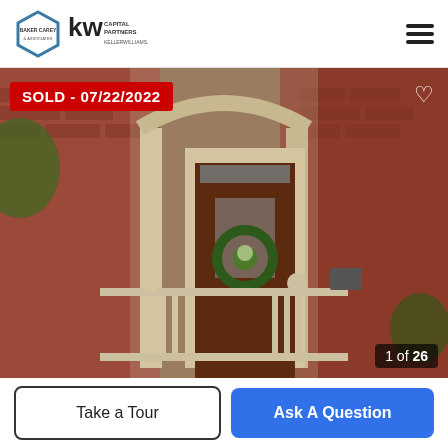[Figure (logo): Real estate agency logos: hexagon-shaped logo and KW Capital Partners Keller Williams logo]
[Figure (photo): Exterior photo of a brick house front entrance with a dark wooden door with wreath, cream-colored columns and porch railing, red brick facade. Sold badge overlay reading SOLD - 07/22/2022. Image counter showing 1 of 26.]
SOLD - 07/22/2022
1 of 26
Take a Tour
Ask A Question